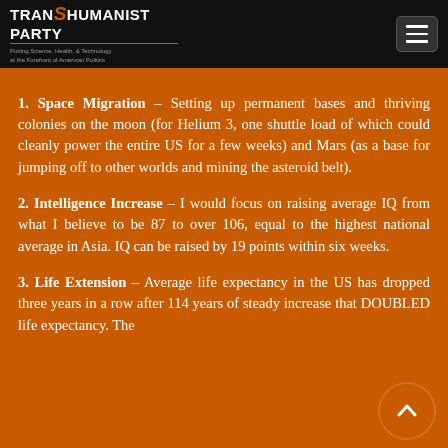Transhumanist Party – Putting Science, Health, & Technology at the Forefront of American Politics
1. Space Migration – Setting up permanent bases and thriving colonies on the moon (for Helium 3, one shuttle load of which could cleanly power the entire US for a few weeks) and Mars (as a base for jumping off to other worlds and mining the asteroid belt).
2. Intelligence Increase – I would focus on raising average IQ from what I believe to be 87 to over 106, equal to the highest national average in Asia. IQ can be raised by 19 points within six weeks.
3. Life Extension – Average life expectancy in the US has dropped three years in a row after 114 years of steady increase that DOUBLED life expectancy. The